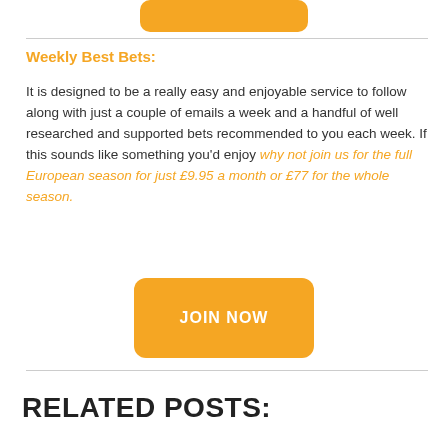[Figure (other): Orange rounded button (partially visible at top)]
Weekly Best Bets:
It is designed to be a really easy and enjoyable service to follow along with just a couple of emails a week and a handful of well researched and supported bets recommended to you each week. If this sounds like something you'd enjoy why not join us for the full European season for just £9.95 a month or £77 for the whole season.
[Figure (other): Orange rounded JOIN NOW button]
RELATED POSTS: